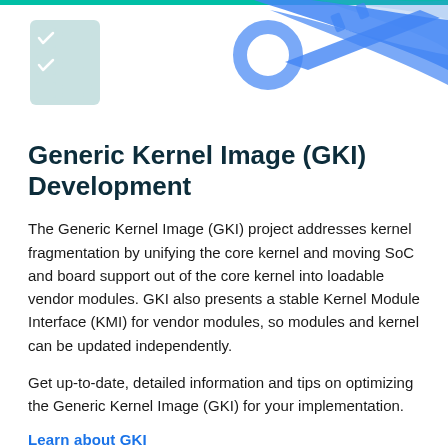[Figure (illustration): Decorative illustration showing a checklist icon on the left and a blue key icon on the right against a white background with a green accent bar at top.]
Generic Kernel Image (GKI) Development
The Generic Kernel Image (GKI) project addresses kernel fragmentation by unifying the core kernel and moving SoC and board support out of the core kernel into loadable vendor modules. GKI also presents a stable Kernel Module Interface (KMI) for vendor modules, so modules and kernel can be updated independently.
Get up-to-date, detailed information and tips on optimizing the Generic Kernel Image (GKI) for your implementation.
Learn about GKI